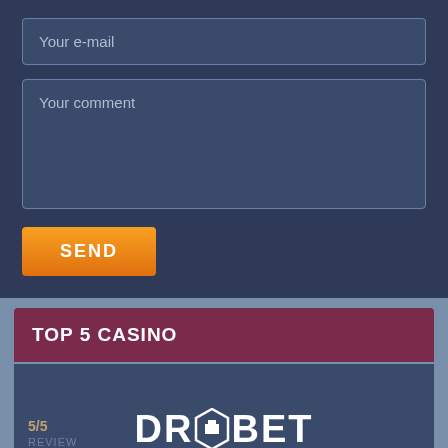Your e-mail
Your comment
SEND
TOP 5 CASINO
[Figure (logo): DroBet casino logo with hexagonal emblem in white text on dark blue background]
5/5
REVIEW
WIN REAL MONEY